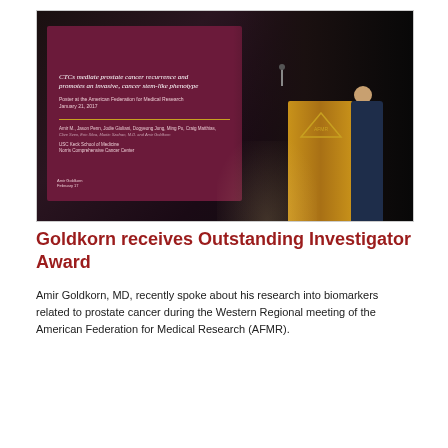[Figure (photo): A speaker presenting at a podium in a darkened auditorium. Behind them is a large presentation slide with a dark red/maroon background showing the title 'CTCs mediate prostate cancer recurrence and promote an invasive, cancer stem-like phenotype' and other text including author names and affiliation. The speaker stands at a wooden podium with a logo on it.]
Goldkorn receives Outstanding Investigator Award
Amir Goldkorn, MD, recently spoke about his research into biomarkers related to prostate cancer during the Western Regional meeting of the American Federation for Medical Research (AFMR).